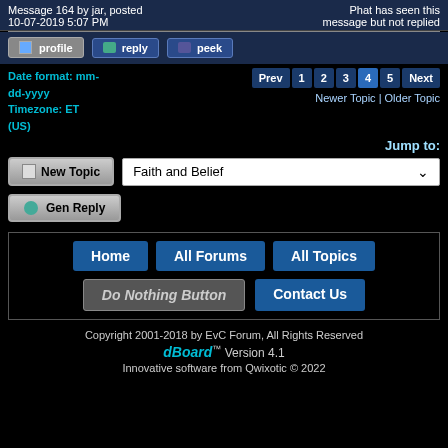Message 164 by jar, posted 10-07-2019 5:07 PM
Phat has seen this message but not replied
profile | reply | peek
Date format: mm-dd-yyyy
Timezone: ET (US)
Prev 1 2 3 4 5 Next
Newer Topic | Older Topic
Jump to:
New Topic
Faith and Belief
Gen Reply
Home | All Forums | All Topics | Do Nothing Button | Contact Us
Copyright 2001-2018 by EvC Forum, All Rights Reserved
dBoard™ Version 4.1
Innovative software from Qwixotic © 2022